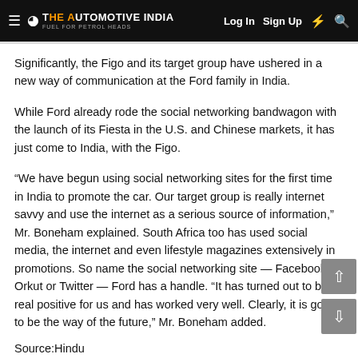THE AUTOMOTIVE INDIA | Log In  Sign Up
Significantly, the Figo and its target group have ushered in a new way of communication at the Ford family in India.
While Ford already rode the social networking bandwagon with the launch of its Fiesta in the U.S. and Chinese markets, it has just come to India, with the Figo.
“We have begun using social networking sites for the first time in India to promote the car. Our target group is really internet savvy and use the internet as a serious source of information,” Mr. Boneham explained. South Africa too has used social media, the internet and even lifestyle magazines extensively in promotions. So name the social networking site — Facebook, Orkut or Twitter — Ford has a handle. “It has turned out to be a real positive for us and has worked very well. Clearly, it is going to be the way of the future,” Mr. Boneham added.
Source:Hindu